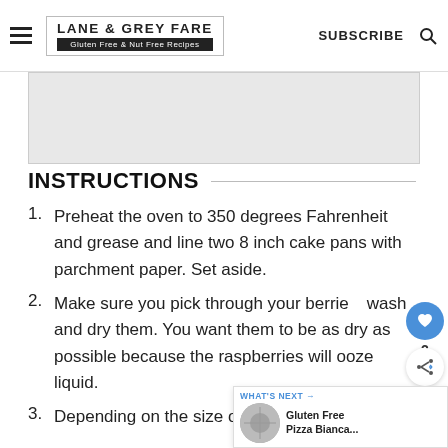LANE & GREY FARE | Gluten Free & Nut Free Recipes | SUBSCRIBE
[Figure (other): Gray advertisement or image placeholder box]
INSTRUCTIONS
Preheat the oven to 350 degrees Fahrenheit and grease and line two 8 inch cake pans with parchment paper. Set aside.
Make sure you pick through your berries, wash and dry them. You want them to be as dry as possible because the raspberries will ooze liquid.
Depending on the size of the